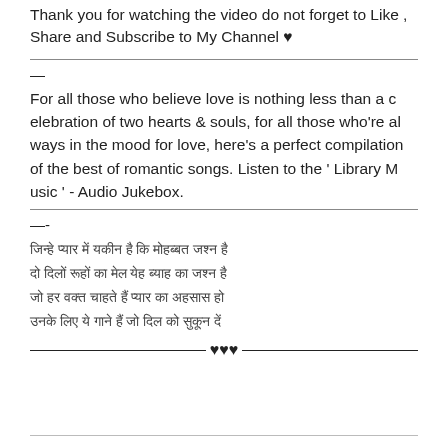Thank you for watching the video do not forget to Like , Share and Subscribe to My Channel ♥
—
For all those who believe love is nothing less than a celebration of two hearts & souls, for all those who're always in the mood for love, here's a perfect compilation of the best of romantic songs. Listen to the ' Library Music ' - Audio Jukebox.
—-
[Hindi text lines - romantic song lyrics in Devanagari script]
♥♥♥